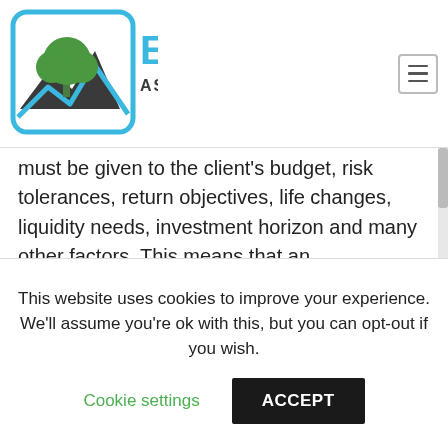[Figure (logo): Envest Asset Management LLC logo with green tree icon and blue/teal wordmark]
must be given to the client's budget, risk tolerances, return objectives, life changes, liquidity needs, investment horizon and many other factors. This means that an advisor/planner should talk to the client, listen to the client's needs, goals and wishes, and educate the client about investment products that may be appropriate for the client's investment and sustainability goals.
In general, there are two popular methods to
This website uses cookies to improve your experience. We'll assume you're ok with this, but you can opt-out if you wish.
Cookie settings    ACCEPT